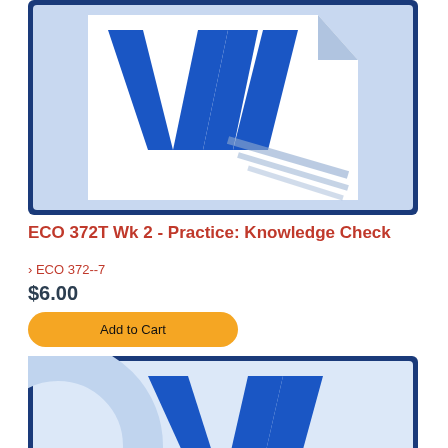[Figure (logo): Microsoft Word application icon — large blue W on white document with dark blue border, top product card]
ECO 372T Wk 2 - Practice: Knowledge Check
› ECO 372--7
$6.00
Add to Cart
[Figure (logo): Microsoft Word application icon — large blue W on white/light blue background, partially cropped at bottom of page, second product card]